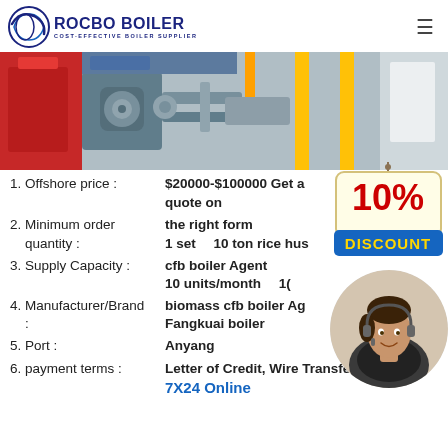[Figure (logo): Rocbo Boiler logo with circular blue graphic and text 'ROCBO BOILER / COST-EFFECTIVE BOILER SUPPLIER']
[Figure (photo): Industrial boiler equipment photo showing red, yellow, and grey machinery components]
1. Offshore price : $20000-$100000 Get a quote on the right form
2. Minimum order quantity : 1 set 10 ton rice husk cfb boiler Agent
3. Supply Capacity : 10 units/month 10 biomass cfb boiler Agent
4. Manufacturer/Brand: Fangkuai boiler
5. Port : Anyang
6. payment terms : Letter of Credit, Wire Transfer, 7X24 Online